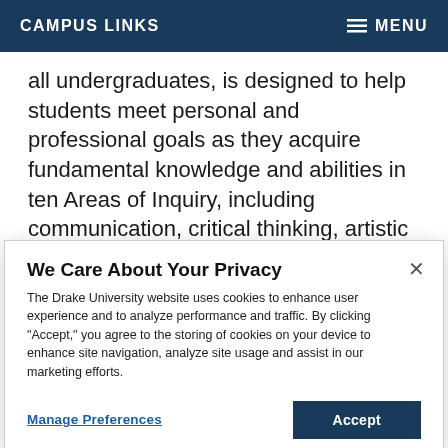CAMPUS LINKS     ≡ MENU
all undergraduates, is designed to help students meet personal and professional goals as they acquire fundamental knowledge and abilities in ten Areas of Inquiry, including communication, critical thinking, artistic experience, historical consciousness, information and technology literacy, international and multicultural experiences, scientific and quantitative literacy, values and
We Care About Your Privacy
The Drake University website uses cookies to enhance user experience and to analyze performance and traffic. By clicking "Accept," you agree to the storing of cookies on your device to enhance site navigation, analyze site usage and assist in our marketing efforts.
Manage Preferences     Accept